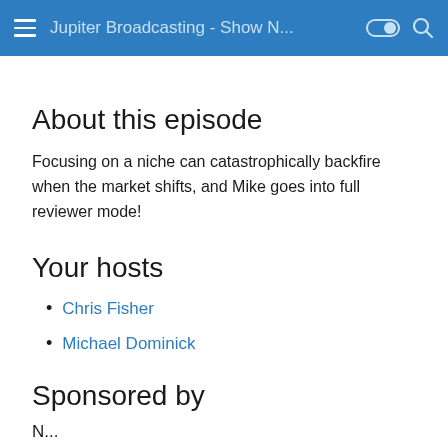Jupiter Broadcasting - Show N...
About this episode
Focusing on a niche can catastrophically backfire when the market shifts, and Mike goes into full reviewer mode!
Your hosts
Chris Fisher
Michael Dominick
Sponsored by
N...